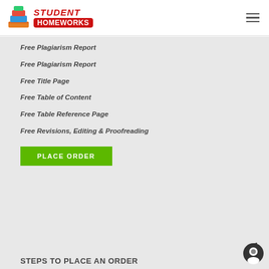STUDENT HOMEWORKS
Free Plagiarism Report
Free Plagiarism Report
Free Title Page
Free Table of Content
Free Table Reference Page
Free Revisions, Editing & Proofreading
PLACE ORDER
STEPS TO PLACE AN ORDER